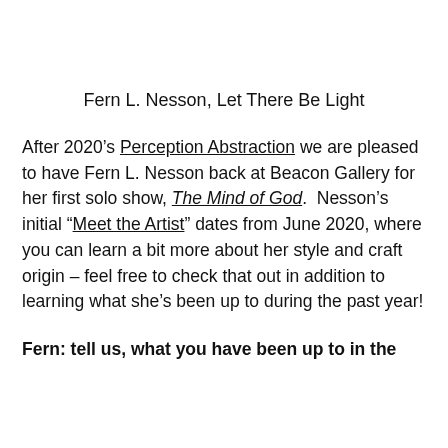Fern L. Nesson, Let There Be Light
After 2020’s Perception Abstraction we are pleased to have Fern L. Nesson back at Beacon Gallery for her first solo show, The Mind of God. Nesson’s initial “Meet the Artist” dates from June 2020, where you can learn a bit more about her style and craft origin – feel free to check that out in addition to learning what she’s been up to during the past year!
Fern: tell us, what you have been up to in the